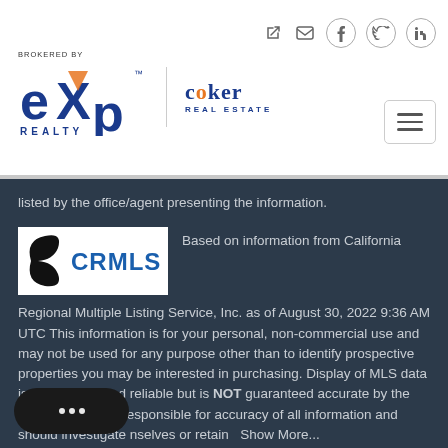Navigation header with eXp Realty / Coker Real Estate logo and nav icons
listed by the office/agent presenting the information.
[Figure (logo): CRMLS logo - California Regional Multiple Listing Service logo with black swoosh and blue text]
Based on information from California Regional Multiple Listing Service, Inc. as of August 30, 2022 9:36 AM UTC This information is for your personal, non-commercial use and may not be used for any purpose other than to identify prospective properties you may be interested in purchasing. Display of MLS data is usually deemed reliable but is NOT guaranteed accurate by the MLS. Buyers are responsible for accuracy of all information and should investigate nselves or retain  Show More...